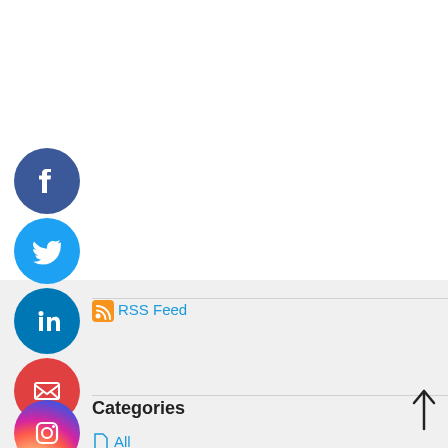[Figure (infographic): Facebook circular social media icon with white F on dark blue background]
[Figure (infographic): Twitter circular social media icon with white bird on light blue background]
[Figure (infographic): LinkedIn circular social media icon with white 'in' on blue background]
[Figure (infographic): Email circular icon with white envelope on red background]
[Figure (infographic): Instagram circular icon with white camera outline on gradient pink/purple background]
[Figure (logo): RSS feed orange icon]
RSS Feed
Search
Categories
All